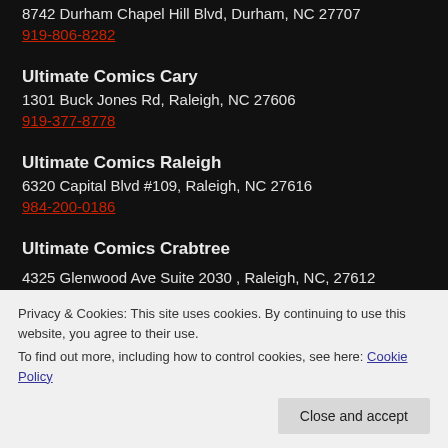8742 Durham Chapel Hill Blvd, Durham, NC 27707
919-806-8282
Ultimate Comics Cary
1301 Buck Jones Rd, Raleigh, NC 27606
919-377-8778
Ultimate Comics Raleigh
6320 Capital Blvd #109, Raleigh, NC 27616
984-200-0186
Ultimate Comics Crabtree
4325 Glenwood Ave Suite 2030 , Raleigh, NC, 27612
Privacy & Cookies: This site uses cookies. By continuing to use this website, you agree to their use.
To find out more, including how to control cookies, see here: Cookie Policy
Close and accept